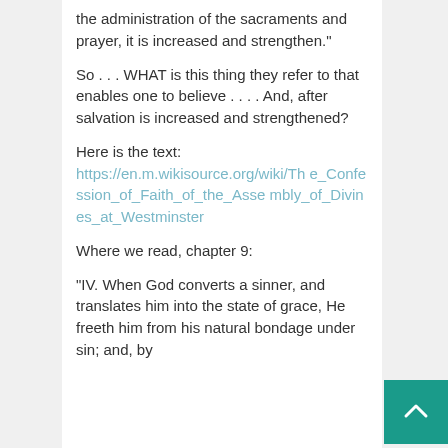the administration of the sacraments and prayer, it is increased and strengthen."
So . . . WHAT is this thing they refer to that enables one to believe . . . . And, after salvation is increased and strengthened?
Here is the text:
https://en.m.wikisource.org/wiki/The_Confession_of_Faith_of_the_Assembly_of_Divines_at_Westminster
Where we read, chapter 9:
"IV. When God converts a sinner, and translates him into the state of grace, He freeth him from his natural bondage under sin; and, by